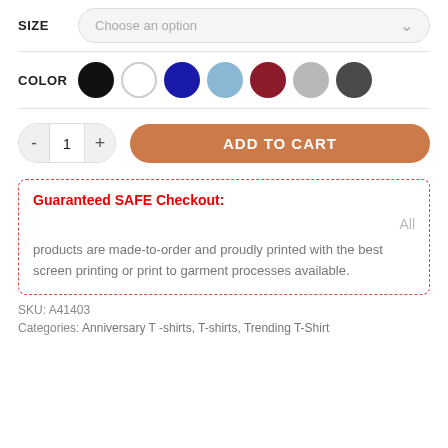SIZE  Choose an option
COLOR
- 1 +
ADD TO CART
Guaranteed SAFE Checkout:
All
products are made-to-order and proudly printed with the best screen printing or print to garment processes available.
SKU: A41403
Categories: Anniversary T-shirts, T-shirts, Trending T-Shirt